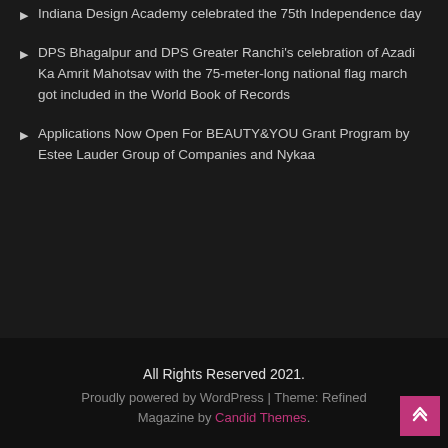Indiana Design Academy celebrated the 75th Independence day
DPS Bhagalpur and DPS Greater Ranchi's celebration of Azadi Ka Amrit Mahotsav with the 75-meter-long national flag march got included in the World Book of Records
Applications Now Open For BEAUTY&YOU Grant Program by Estee Lauder Group of Companies and Nykaa
All Rights Reserved 2021.
Proudly powered by WordPress | Theme: Refined Magazine by Candid Themes.